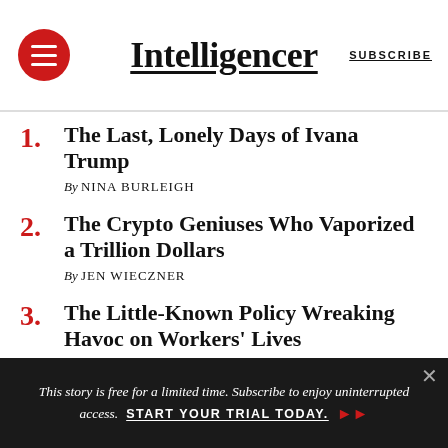Intelligencer | SUBSCRIBE
1. The Last, Lonely Days of Ivana Trump — By NINA BURLEIGH
2. The Crypto Geniuses Who Vaporized a Trillion Dollars — By JEN WIECZNER
3. The Little-Known Policy Wreaking Havoc on Workers' Lives — By BRYCE COVERT
4. Mitch McConnell's Terrible Candidates Are His Own Fault — By JONATHAN CHAIT
This story is free for a limited time. Subscribe to enjoy uninterrupted access. START YOUR TRIAL TODAY.